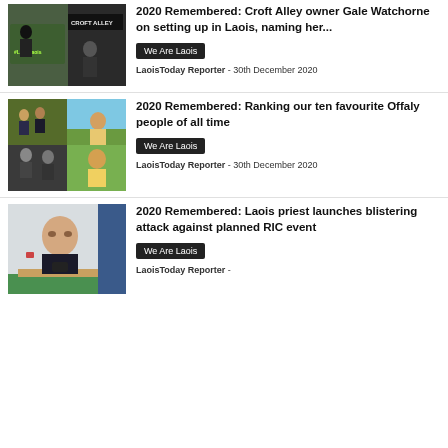[Figure (photo): Photo of people outside Croft Alley venue with #LoveLaois sign on hedge]
2020 Remembered: Croft Alley owner Gale Watchorne on setting up in Laois, naming her...
We Are Laois
LaoisToday Reporter - 30th December 2020
[Figure (photo): Collage of Offaly people including sports and community figures]
2020 Remembered: Ranking our ten favourite Offaly people of all time
We Are Laois
LaoisToday Reporter - 30th December 2020
[Figure (photo): Photo of a man at a table looking at phone]
2020 Remembered: Laois priest launches blistering attack against planned RIC event
We Are Laois
LaoisToday Reporter -